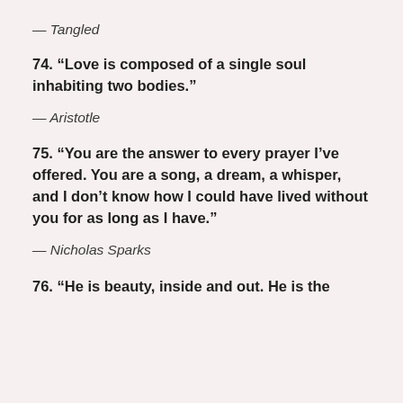— Tangled
74. “Love is composed of a single soul inhabiting two bodies.”
— Aristotle
75. “You are the answer to every prayer I’ve offered. You are a song, a dream, a whisper, and I don’t know how I could have lived without you for as long as I have.”
— Nicholas Sparks
76. “He is beauty, inside and out. He is the